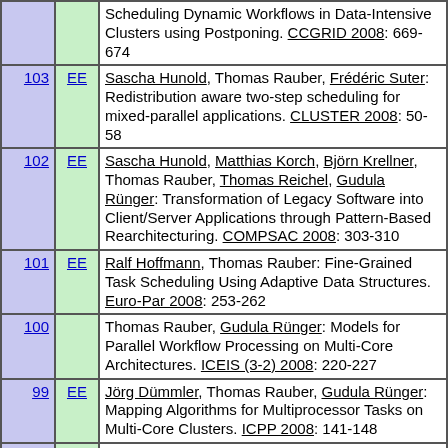| # | EE | Reference |
| --- | --- | --- |
|  |  | Scheduling Dynamic Workflows in Data-Intensive Clusters using Postponing. CCGRID 2008: 669-674 |
| 103 | EE | Sascha Hunold, Thomas Rauber, Frédéric Suter: Redistribution aware two-step scheduling for mixed-parallel applications. CLUSTER 2008: 50-58 |
| 102 | EE | Sascha Hunold, Matthias Korch, Björn Krellner, Thomas Rauber, Thomas Reichel, Gudula Rünger: Transformation of Legacy Software into Client/Server Applications through Pattern-Based Rearchitecturing. COMPSAC 2008: 303-310 |
| 101 | EE | Ralf Hoffmann, Thomas Rauber: Fine-Grained Task Scheduling Using Adaptive Data Structures. Euro-Par 2008: 253-262 |
| 100 |  | Thomas Rauber, Gudula Rünger: Models for Parallel Workflow Processing on Multi-Core Architectures. ICEIS (3-2) 2008: 220-227 |
| 99 | EE | Jörg Dümmler, Thomas Rauber, Gudula Rünger: Mapping Algorithms for Multiprocessor Tasks on Multi-Core Clusters. ICPP 2008: 141-148 |
| 98 | EE | Marco Höbbel, Thomas Rauber, Carsten Scholtes: Trace-based automatic padding for locality improvement with correlative data visualization interface. IPDPS 2008: 1-8 |
| 97 | EE | Jörg Dümmler, Thomas Rauber, Gudula Rünger: A Transformation Framework for Computation... |